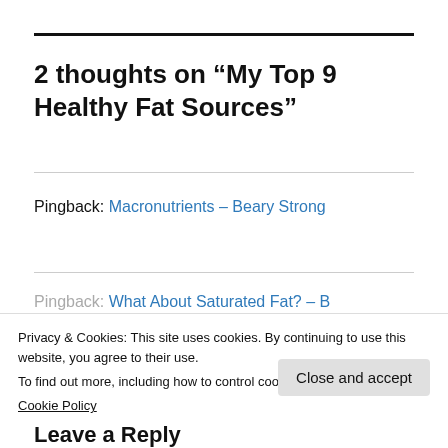2 thoughts on “My Top 9 Healthy Fat Sources”
Pingback: Macronutrients – Beary Strong
Pingback: What About Saturated Fat? – B...
Privacy & Cookies: This site uses cookies. By continuing to use this website, you agree to their use.
To find out more, including how to control cookies, see here:
Cookie Policy
Close and accept
Leave a Reply